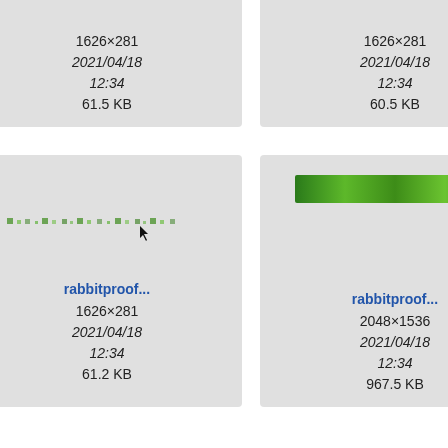[Figure (screenshot): File browser thumbnail grid showing image files. Top row (partially cropped): three cards each showing metadata: 1626×281, 2021/04/18 12:34, with file sizes 61.5 KB, 60.5 KB, 60.9 KB. Middle row: three thumbnail cards labeled 'rabbitproof...' with images (dotted green line with cursor, green band, diamond fence mesh) and metadata 1626×281/61.2 KB, 2048×1536/967.5 KB, 159×281/5.5 KB. Bottom row (partially visible): three cards with small icons (asterisk, dot, file icon).]